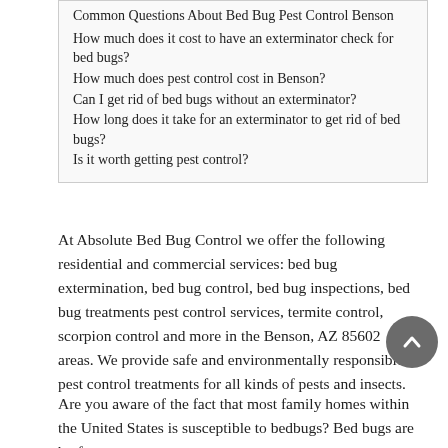Common Questions About Bed Bug Pest Control Benson
How much does it cost to have an exterminator check for bed bugs?
How much does pest control cost in Benson?
Can I get rid of bed bugs without an exterminator?
How long does it take for an exterminator to get rid of bed bugs?
Is it worth getting pest control?
At Absolute Bed Bug Control we offer the following residential and commercial services: bed bug extermination, bed bug control, bed bug inspections, bed bug treatments pest control services, termite control, scorpion control and more in the Benson, AZ 85602 areas. We provide safe and environmentally responsible pest control treatments for all kinds of pests and insects.
Are you aware of the fact that most family homes within the United States is susceptible to bedbugs? Bed bugs are by far